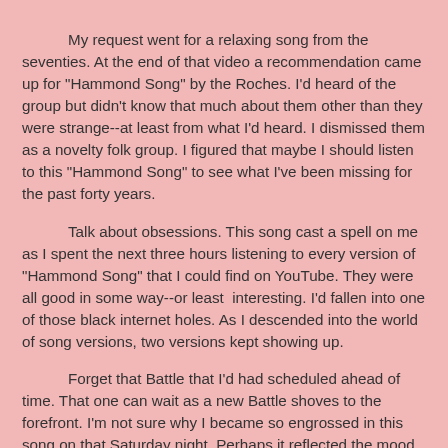My request went for a relaxing song from the seventies.  At the end of that video a recommendation came up for "Hammond Song" by the Roches.   I'd heard of the group but didn't know that much about them other than they were strange--at least from what I'd heard. I dismissed them as a novelty folk group.  I figured that maybe I should listen to this "Hammond Song" to see what I've been missing for the past forty years.
Talk about obsessions.  This song cast a spell on me as I spent the next three hours listening to every version of "Hammond Song" that I could find on YouTube.  They were all good in some way--or least  interesting.  I'd fallen into one of those black internet holes.  As I descended into the world of song versions, two versions kept showing up.
Forget that Battle that I'd had scheduled ahead of time.  That one can wait as a new Battle shoves to the forefront.  I'm not sure why I became so engrossed in this song on that Saturday night.  Perhaps it reflected the mood that I was in on that evening.   Or did the song express something I could relate to?  To me there is an ethereal